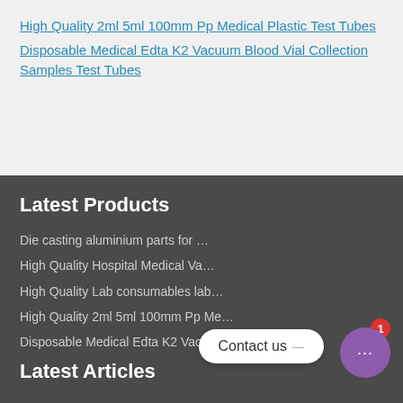High Quality 2ml 5ml 100mm Pp Medical Plastic Test Tubes
Disposable Medical Edta K2 Vacuum Blood Vial Collection Samples Test Tubes
Latest Products
Die casting aluminium parts for …
High Quality Hospital Medical Va…
High Quality Lab consumables lab…
High Quality 2ml 5ml 100mm Pp Me…
Disposable Medical Edta K2 Vacuu…
Latest Articles